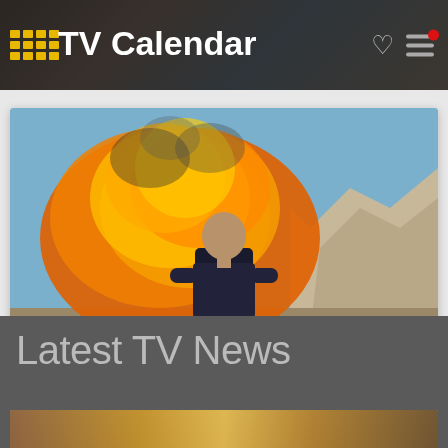TV Calendar
[Figure (screenshot): Fear Factor TV show card with explosion and man in dark clothing, with a heart/favorite icon overlay]
Fear Factor
Latest TV News
[Figure (photo): Partial image strip at bottom for a TV news article]